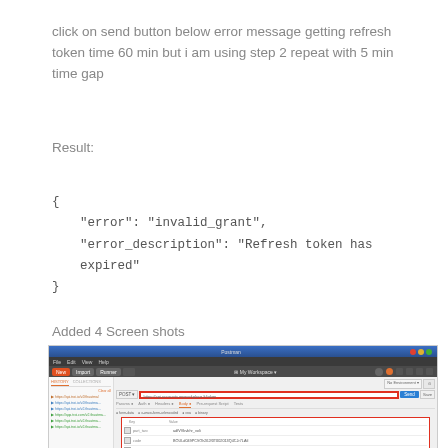click on send button below error message getting refresh token time 60 min but i am using step 2 repeat with 5 min time gap
Result:
Added 4 Screen shots
[Figure (screenshot): Screenshot of Postman application showing a POST request with a URL input field highlighted in red. The response area shows fields including part_two, code, and part_20 with values containing token information. The interface shows My Workspace header and various tabs.]